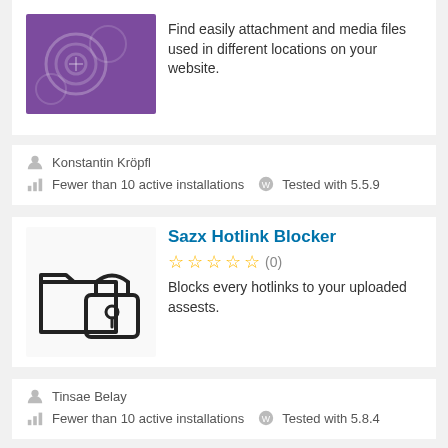[Figure (illustration): Purple background plugin icon with circular shapes]
Find easily attachment and media files used in different locations on your website.
Konstantin Kröpfl
Fewer than 10 active installations   Tested with 5.5.9
Sazx Hotlink Blocker
[Figure (illustration): Lock and folder icon representing hotlink blocker plugin]
Blocks every hotlinks to your uploaded assests.
Tinsae Belay
Fewer than 10 active installations   Tested with 5.8.4
Contact Form by tech-c.net